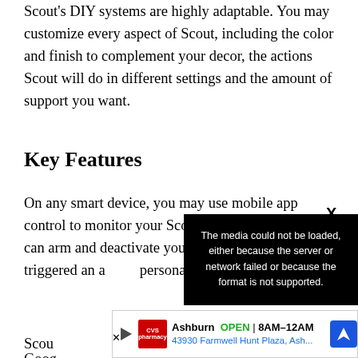Scout's DIY systems are highly adaptable. You may customize every aspect of Scout, including the color and finish to complement your decor, the actions Scout will do in different settings and the amount of support you want.
Key Features
On any smart device, you may use mobile app control to monitor your Scout Alarm system. You can arm and deactivate your system, examine what triggered an alarm, and receive personalized notifications us...
[Figure (other): Video error overlay with black background reading: 'The media could not be loaded, either because the server or network failed or because the format is not supported.' with an X close button.]
[Figure (other): Advertisement banner for CVS Pharmacy in Ashburn. Shows OPEN 8AM-12AM, address 43930 Farmwell Hunt Plaza, Ash... with play button, CVS logo, and navigation arrow icon.]
Scou... Goog... me